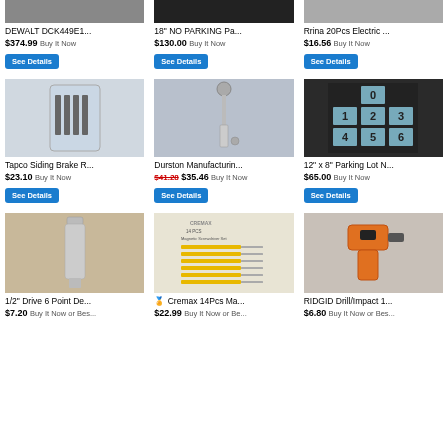[Figure (photo): DEWALT DCK449E1 product image (partially visible at top)]
DEWALT DCK449E1...
$374.99 Buy It Now
[Figure (photo): 18 inch NO PARKING sign product image]
18" NO PARKING Pa...
$130.00 Buy It Now
[Figure (photo): Rrina 20Pcs Electric product image]
Rrina 20Pcs Electric ...
$16.56 Buy It Now
[Figure (photo): Tapco Siding Brake replacement parts in bag]
Tapco Siding Brake R...
$23.10 Buy It Now
[Figure (photo): Durston Manufacturing ratchet wrench tool]
Durston Manufacturin...
$41.28 $35.46 Buy It Now
[Figure (photo): 12x8 inch Parking Lot Number stencil set 0-9]
12" x 8" Parking Lot N...
$65.00 Buy It Now
[Figure (photo): 1/2 inch Drive 6 Point socket on granite countertop]
1/2" Drive 6 Point De...
$7.20 Buy It Now or Bes...
[Figure (photo): Cremax 14Pcs Magnetic Screwdriver Set with packaging]
Cremax 14Pcs Ma...
$22.99 Buy It Now or Be...
[Figure (photo): RIDGID Drill/Impact driver tool]
RIDGID Drill/Impact 1...
$6.80 Buy It Now or Bes...